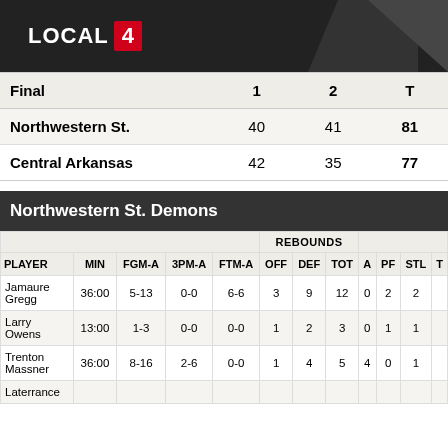LOCAL 4
| Final | 1 | 2 | T |
| --- | --- | --- | --- |
| Northwestern St. | 40 | 41 | 81 |
| Central Arkansas | 42 | 35 | 77 |
Northwestern St. Demons
| PLAYER | MIN | FGM-A | 3PM-A | FTM-A | OFF | DEF | TOT | A | PF | STL | T |
| --- | --- | --- | --- | --- | --- | --- | --- | --- | --- | --- | --- |
| Jamaure Gregg | 36:00 | 5-13 | 0-0 | 6-6 | 3 | 9 | 12 | 0 | 2 | 2 |  |
| Larry Owens | 13:00 | 1-3 | 0-0 | 0-0 | 1 | 2 | 3 | 0 | 1 | 1 |  |
| Trenton Massner | 36:00 | 8-16 | 2-6 | 0-0 | 1 | 4 | 5 | 4 | 0 | 1 |  |
| Laterrance |  |  |  |  |  |  |  |  |  |  |  |